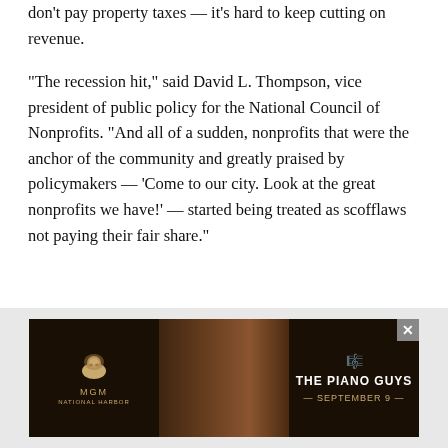don't pay property taxes — it's hard to keep cutting on revenue.
“The recession hit,” said David L. Thompson, vice president of public policy for the National Council of Nonprofits. “And all of a sudden, nonprofits that were the anchor of the community and greatly praised by policymakers — ‘Come to our city. Look at the great nonprofits we have!’ — started being treated as scofflaws not paying their fair share.”
[Figure (other): MGM National Harbor advertisement featuring The Piano Guys, September 9]